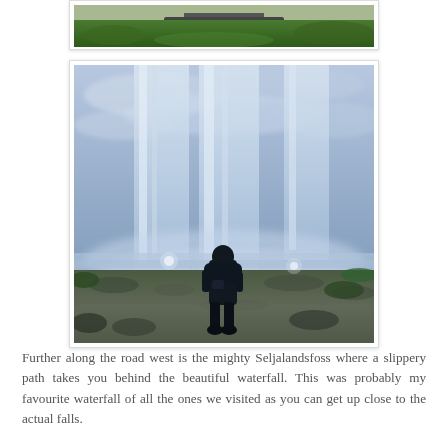[Figure (photo): Partial view of a green mossy landscape, top portion cropped, inside a white card frame]
[Figure (photo): A person standing behind or near the mighty Seljalandsfoss waterfall in Iceland, silhouetted against the cascading water and dramatic blue-grey cloudy sky. Water streams fall in front of the figure. Two small lights are visible in the mist.]
Further along the road west is the mighty Seljalandsfoss where a slippery path takes you behind the beautiful waterfall. This was probably my favourite waterfall of all the ones we visited as you can get up close to the actual falls.